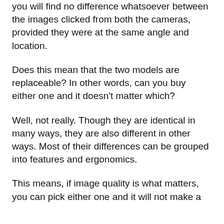you will find no difference whatsoever between the images clicked from both the cameras, provided they were at the same angle and location.
Does this mean that the two models are replaceable? In other words, can you buy either one and it doesn't matter which?
Well, not really. Though they are identical in many ways, they are also different in other ways. Most of their differences can be grouped into features and ergonomics.
This means, if image quality is what matters, you can pick either one and it will not make a